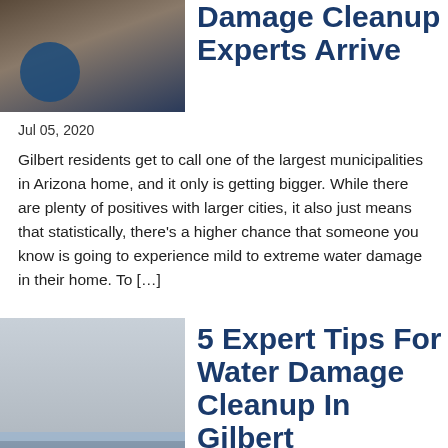[Figure (photo): Thumbnail photo of water damage scene with blue hose/pipe visible]
Damage Cleanup Experts Arrive
Jul 05, 2020
Gilbert residents get to call one of the largest municipalities in Arizona home, and it only is getting bigger. While there are plenty of positives with larger cities, it also just means that statistically, there’s a higher chance that someone you know is going to experience mild to extreme water damage in their home. To […]
[Figure (photo): Thumbnail photo of woman with hands on head in shock standing in flooded kitchen]
5 Expert Tips For Water Damage Cleanup In Gilbert